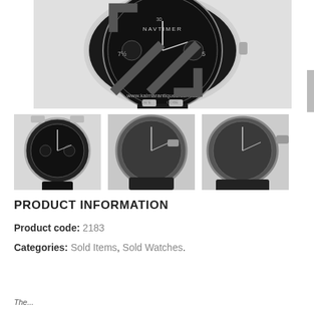[Figure (photo): Close-up top view of a Breitling Navitimer chronograph watch with black dial and black leather strap on white background. Watermark reads www.kalmarantiques.com.au]
[Figure (photo): Front view of Breitling Navitimer chronograph watch with black dial and black leather strap]
[Figure (photo): Angled view of Breitling Navitimer chronograph watch face with black dial]
[Figure (photo): Three-quarter view of Breitling Navitimer chronograph watch with black dial and leather strap]
PRODUCT INFORMATION
Product code: 2183
Categories: Sold Items, Sold Watches.